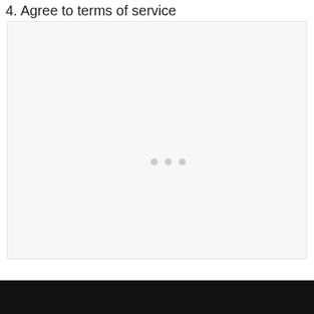4. Agree to terms of service
[Figure (screenshot): A light gray content area placeholder box with three small gray dots in the center, representing a loading state or empty content panel.]